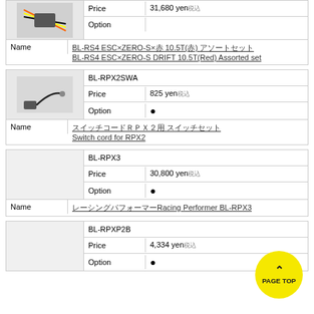|  | Price | Option |
| --- | --- | --- |
| 31,680 yen税込 |  |
| Option |  |
BL-RS4 ESC×ZERO-S×赤 10.5T(赤) アソートセット BL-RS4 ESC×ZERO-S DRIFT 10.5T(Red) Assorted set
| BL-RPX2SWA |  |
| --- | --- |
| Price | 825 yen税込 |
| Option | ● |
スイッチコードRPX2用 スイッチセット Switch cord for RPX2
| BL-RPX3 |  |
| --- | --- |
| Price | 30,800 yen税込 |
| Option | ● |
レーシングパフォーマーRacing Performer BL-RPX3
| BL-RPXP2B |  |
| --- | --- |
| Price | 4,334 yen税込 |
| Option | ● |